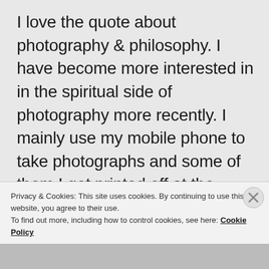I love the quote about photography & philosophy. I have become more interested in in the spiritual side of photography more recently. I mainly use my mobile phone to take photographs and some of them I get printed off at the photography shop.
Photography & philosophyvsounx interesting .
Privacy & Cookies: This site uses cookies. By continuing to use this website, you agree to their use.
To find out more, including how to control cookies, see here: Cookie Policy
Close and accept